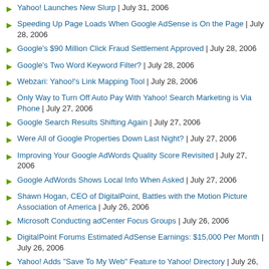Yahoo! Launches New Slurp | July 31, 2006
Speeding Up Page Loads When Google AdSense is On the Page | July 28, 2006
Google's $90 Million Click Fraud Settlement Approved | July 28, 2006
Google's Two Word Keyword Filter? | July 28, 2006
Webzari: Yahoo!'s Link Mapping Tool | July 28, 2006
Only Way to Turn Off Auto Pay With Yahoo! Search Marketing is Via Phone | July 27, 2006
Google Search Results Shifting Again | July 27, 2006
Were All of Google Properties Down Last Night? | July 27, 2006
Improving Your Google AdWords Quality Score Revisited | July 27, 2006
Google AdWords Shows Local Info When Asked | July 27, 2006
Shawn Hogan, CEO of DigitalPoint, Battles with the Motion Picture Association of America | July 26, 2006
Microsoft Conducting adCenter Focus Groups | July 26, 2006
DigitalPoint Forums Estimated AdSense Earnings: $15,000 Per Month | July 26, 2006
Yahoo! Adds "Save To My Web" Feature to Yahoo! Directory | July 26, 2006
Google Shows Advertisers Their "Invalid Clicks" in AdWords Reports | July 26, 2006
Microsoft adCenter Daily Stats Back To Normal | July 25, 2006
Ranking Effects of Switching To a New IP Address | July 25, 2006
Yahoo! Hires Database Expert for Social Search Development | July 25, 2006
Coverage Remainder Of Week Sporadic | July 24, 2006